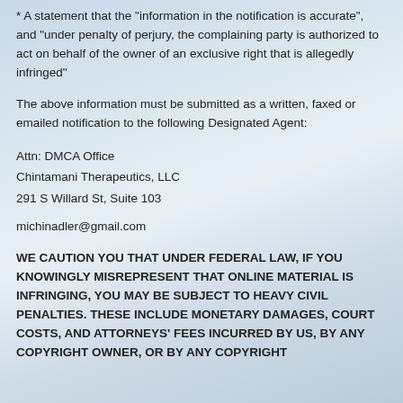* A statement that the "information in the notification is accurate", and "under penalty of perjury, the complaining party is authorized to act on behalf of the owner of an exclusive right that is allegedly infringed"
The above information must be submitted as a written, faxed or emailed notification to the following Designated Agent:
Attn: DMCA Office
Chintamani Therapeutics, LLC
291 S Willard St, Suite 103
michinadler@gmail.com
WE CAUTION YOU THAT UNDER FEDERAL LAW, IF YOU KNOWINGLY MISREPRESENT THAT ONLINE MATERIAL IS INFRINGING, YOU MAY BE SUBJECT TO HEAVY CIVIL PENALTIES. THESE INCLUDE MONETARY DAMAGES, COURT COSTS, AND ATTORNEYS' FEES INCURRED BY US, BY ANY COPYRIGHT OWNER, OR BY ANY COPYRIGHT